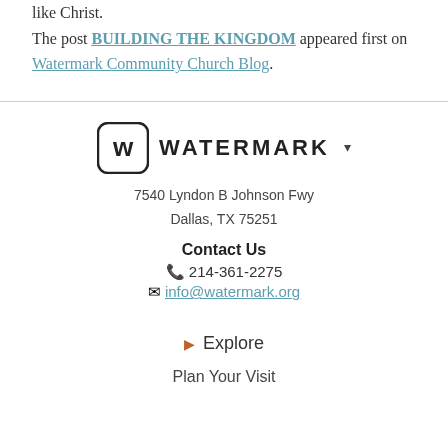like Christ.
The post BUILDING THE KINGDOM appeared first on Watermark Community Church Blog.
[Figure (logo): Watermark Community Church logo with stylized W in rounded square and WATERMARK text with dropdown arrow]
7540 Lyndon B Johnson Fwy
Dallas, TX 75251
Contact Us
📞 214-361-2275
✉ info@watermark.org
▶ Explore
Plan Your Visit